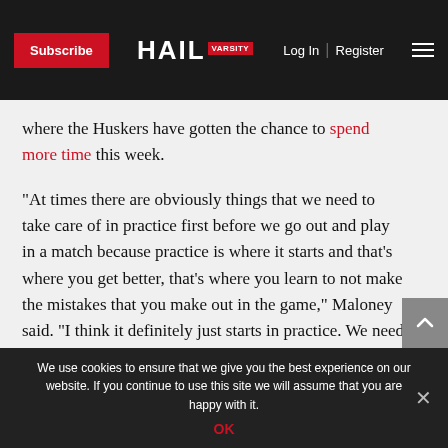Subscribe | HAIL VARSITY | Log In | Register
where the Huskers have gotten the chance to spend more time this week.

“At times there are obviously things that we need to take care of in practice first before we go out and play in a match because practice is where it starts and that’s where you get better, that’s where you learn to not make the mistakes that you make out in the game,” Maloney said. “I think it definitely just starts in practice. We need to be better and hold ourselves to a higher standard in practice first.”
We use cookies to ensure that we give you the best experience on our website. If you continue to use this site we will assume that you are happy with it.
OK